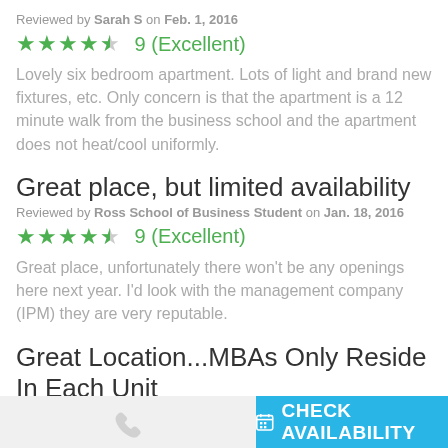Reviewed by Sarah S on Feb. 1, 2016
[Figure (other): 4.5 star rating: 5 green stars (last half), score 9 (Excellent)]
Lovely six bedroom apartment. Lots of light and brand new fixtures, etc. Only concern is that the apartment is a 12 minute walk from the business school and the apartment does not heat/cool uniformly.
Great place, but limited availability
Reviewed by Ross School of Business Student on Jan. 18, 2016
[Figure (other): 4.5 star rating: 5 green stars (last half), score 9 (Excellent)]
Great place, unfortunately there won't be any openings here next year. I'd look with the management company (IPM) they are very reputable.
Great Location...MBAs Only Reside In Each Unit
Reviewed by Melanie on Jan. 18, 2016
CHECK AVAILABILITY